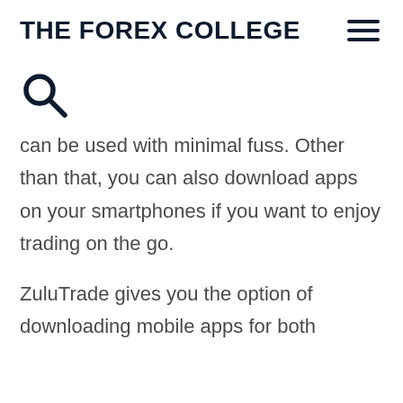THE FOREX COLLEGE
[Figure (other): Search icon (magnifying glass)]
can be used with minimal fuss. Other than that, you can also download apps on your smartphones if you want to enjoy trading on the go.
ZuluTrade gives you the option of downloading mobile apps for both